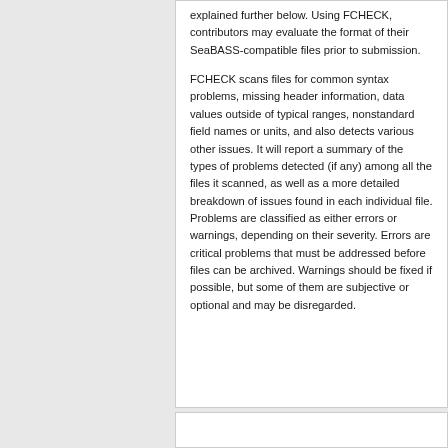explained further below. Using FCHECK, contributors may evaluate the format of their SeaBASS-compatible files prior to submission.
FCHECK scans files for common syntax problems, missing header information, data values outside of typical ranges, nonstandard field names or units, and also detects various other issues. It will report a summary of the types of problems detected (if any) among all the files it scanned, as well as a more detailed breakdown of issues found in each individual file. Problems are classified as either errors or warnings, depending on their severity. Errors are critical problems that must be addressed before files can be archived. Warnings should be fixed if possible, but some of them are subjective or optional and may be disregarded.